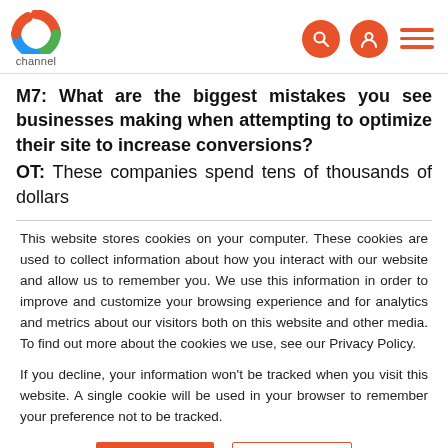channel (logo navigation bar with search, user, and menu icons)
M7: What are the biggest mistakes you see businesses making when attempting to optimize their site to increase conversions?
OT: These companies spend tens of thousands of dollars
This website stores cookies on your computer. These cookies are used to collect information about how you interact with our website and allow us to remember you. We use this information in order to improve and customize your browsing experience and for analytics and metrics about our visitors both on this website and other media. To find out more about the cookies we use, see our Privacy Policy.
If you decline, your information won't be tracked when you visit this website. A single cookie will be used in your browser to remember your preference not to be tracked.